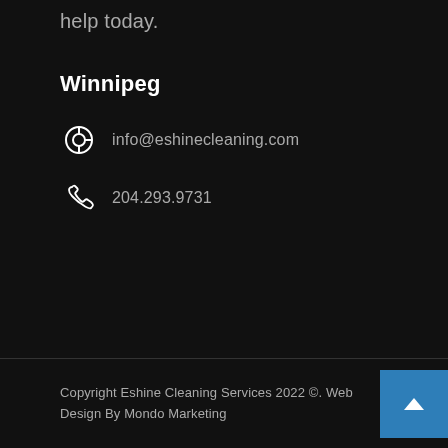help today.
Winnipeg
info@eshinecleaning.com
204.293.9731
Copyright Eshine Cleaning Services 2022 ©. Web Design By Mondo Marketing